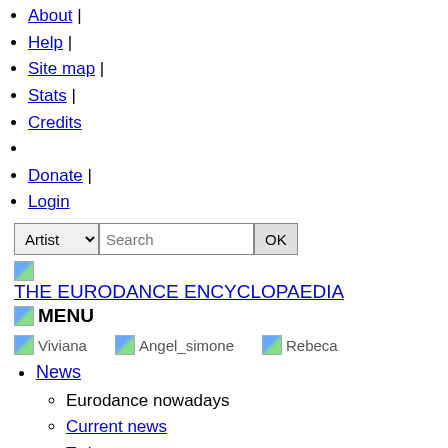About |
Help |
Site map |
Stats |
Credits
Donate |
Login
Artist [dropdown] Search [text field] OK [button]
[Figure (logo): Small thumbnail image placeholder]
THE EURODANCE ENCYCLOPAEDIA
MENU
[Figure (photo): Viviana artist thumbnail]
[Figure (photo): Angel_simone artist thumbnail]
[Figure (photo): Rebeca artist thumbnail]
News
Eurodance nowadays
Current news
Twitter
10 top eurodance news for 2012
News history
Year 2022